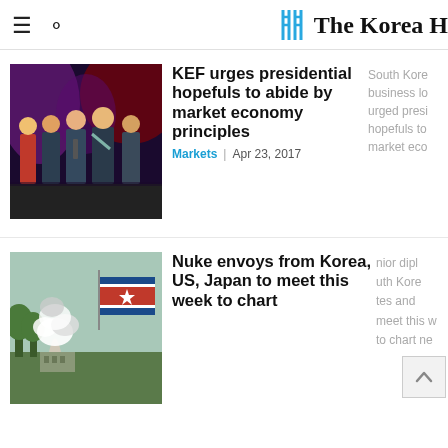The Korea He[rald]
[Figure (photo): Group photo of presidential candidates standing on stage with colorful lighting]
KEF urges presidential hopefuls to abide by market economy principles
Markets | Apr 23, 2017
South Korea business lo... urged presi... hopefuls to... market eco...
[Figure (photo): Nuclear explosion with North Korean flag in background]
Nuke envoys from Korea, US, Japan to meet this week to chart ne...
nior dipl... uth Kore... tes and... meet this w... to chart ne...